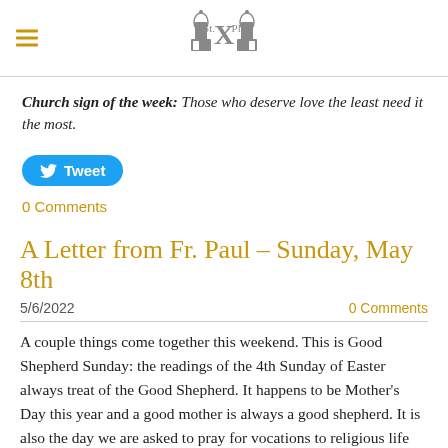St. X Plus (logo with hamburger menu)
Church sign of the week: Those who deserve love the least need it the most.
[Figure (other): Tweet button with Twitter bird icon]
0 Comments
A Letter from Fr. Paul – Sunday, May 8th
5/6/2022    0 Comments
A couple things come together this weekend.  This is Good Shepherd Sunday: the readings of the 4th Sunday of Easter always treat of the Good Shepherd.  It happens to be Mother's Day this year and a good mother is always a good shepherd.  It is also the day we are asked to pray for vocations to religious life and the priesthood: religious leaders have to pattern themselves after the Good Shepherd, always being of service.  As Pope